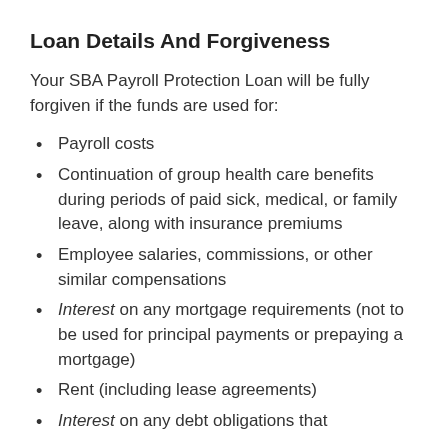Loan Details And Forgiveness
Your SBA Payroll Protection Loan will be fully forgiven if the funds are used for:
Payroll costs
Continuation of group health care benefits during periods of paid sick, medical, or family leave, along with insurance premiums
Employee salaries, commissions, or other similar compensations
Interest on any mortgage requirements (not to be used for principal payments or prepaying a mortgage)
Rent (including lease agreements)
Interest on any debt obligations that